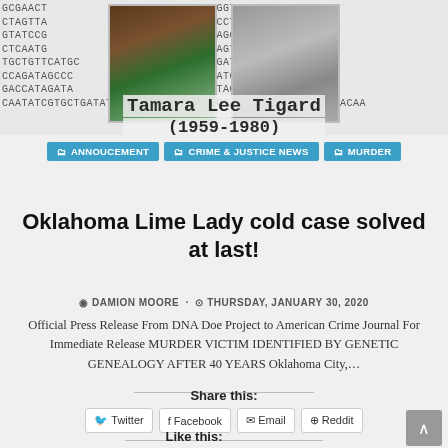[Figure (photo): Top banner with DNA sequence text background and two photos: a color photo of a woman in a green top and leather jacket, and a black-and-white photo of a person in uniform. Overlaid text reads 'Tamara Lee Tigard (1959-1980)']
ANNOUCEMENT
CRIME & JUSTICE NEWS
MURDER
Oklahoma Lime Lady cold case solved at last!
DAMION MOORE · THURSDAY, JANUARY 30, 2020
Official Press Release From DNA Doe Project to American Crime Journal For Immediate Release MURDER VICTIM IDENTIFIED BY GENETIC GENEALOGY AFTER 40 YEARS Oklahoma City,…
Share this:
Twitter
Facebook
Email
Reddit
Like this: